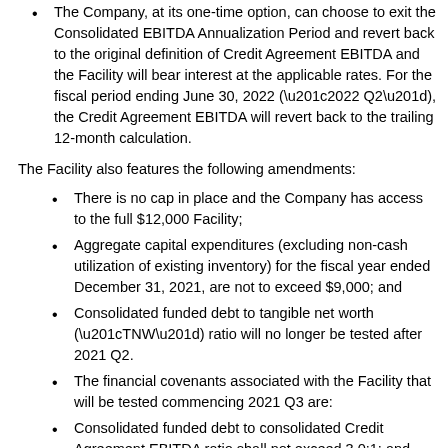The Company, at its one-time option, can choose to exit the Consolidated EBITDA Annualization Period and revert back to the original definition of Credit Agreement EBITDA and the Facility will bear interest at the applicable rates. For the fiscal period ending June 30, 2022 (‘2022 Q2’), the Credit Agreement EBITDA will revert back to the trailing 12-month calculation.
The Facility also features the following amendments:
There is no cap in place and the Company has access to the full $12,000 Facility;
Aggregate capital expenditures (excluding non-cash utilization of existing inventory) for the fiscal year ended December 31, 2021, are not to exceed $9,000; and
Consolidated funded debt to tangible net worth (“TNW”) ratio will no longer be tested after 2021 Q2.
The financial covenants associated with the Facility that will be tested commencing 2021 Q3 are:
Consolidated funded debt to consolidated Credit Agreement EBITDA ratio shall not exceed 3.0:1; and